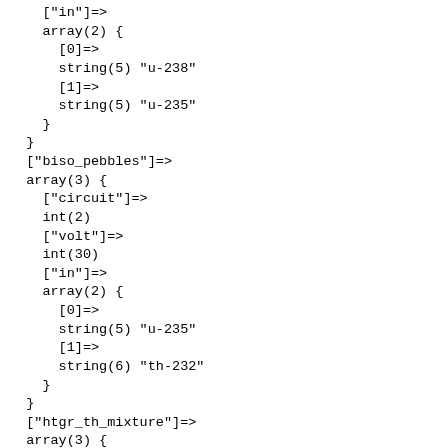["in"]=>
    array(2) {
      [0]=>
      string(5) "u-238"
      [1]=>
      string(5) "u-235"
    }
  }
  ["biso_pebbles"]=>
  array(3) {
    ["circuit"]=>
    int(2)
    ["volt"]=>
    int(30)
    ["in"]=>
    array(2) {
      [0]=>
      string(5) "u-235"
      [1]=>
      string(6) "th-232"
    }
  }
  ["htgr_th_mixture"]=>
  array(3) {
    ["circuit"]=>
    int(1)
    ["volt"]=>
    int(30)
    ["in"]=>
    array(2) {